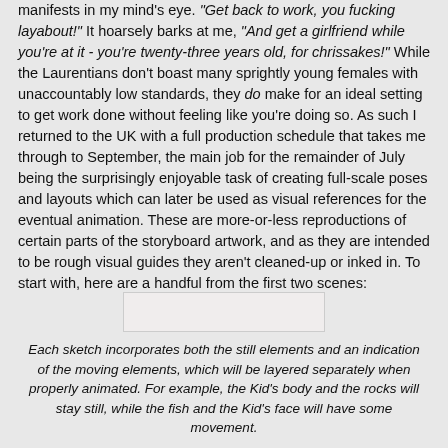manifests in my mind's eye. "Get back to work, you fucking layabout!" It hoarsely barks at me, "And get a girlfriend while you're at it - you're twenty-three years old, for chrissakes!" While the Laurentians don't boast many sprightly young females with unaccountably low standards, they do make for an ideal setting to get work done without feeling like you're doing so. As such I returned to the UK with a full production schedule that takes me through to September, the main job for the remainder of July being the surprisingly enjoyable task of creating full-scale poses and layouts which can later be used as visual references for the eventual animation. These are more-or-less reproductions of certain parts of the storyboard artwork, and as they are intended to be rough visual guides they aren't cleaned-up or inked in. To start with, here are a handful from the first two scenes:
[Figure (other): Blank/placeholder image box]
Each sketch incorporates both the still elements and an indication of the moving elements, which will be layered separately when properly animated. For example, the Kid's body and the rocks will stay still, while the fish and the Kid's face will have some movement.